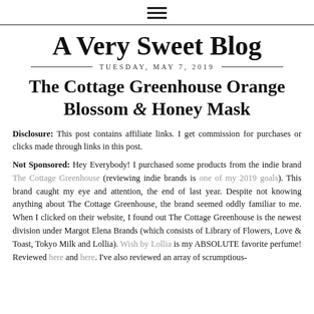≡ (hamburger menu icon)
A Very Sweet Blog
TUESDAY, MAY 7, 2019
The Cottage Greenhouse Orange Blossom & Honey Mask
Disclosure: This post contains affiliate links. I get commission for purchases or clicks made through links in this post.
Not Sponsored: Hey Everybody! I purchased some products from the indie brand The Cottage Greenhouse (reviewing indie brands is one of my 2019 goals). This brand caught my eye and attention, the end of last year. Despite not knowing anything about The Cottage Greenhouse, the brand seemed oddly familiar to me. When I clicked on their website, I found out The Cottage Greenhouse is the newest division under Margot Elena Brands (which consists of Library of Flowers, Love & Toast, Tokyo Milk and Lollia). Wish by Lollia is my ABSOLUTE favorite perfume! Reviewed here and here. I've also reviewed an array of scrumptious-